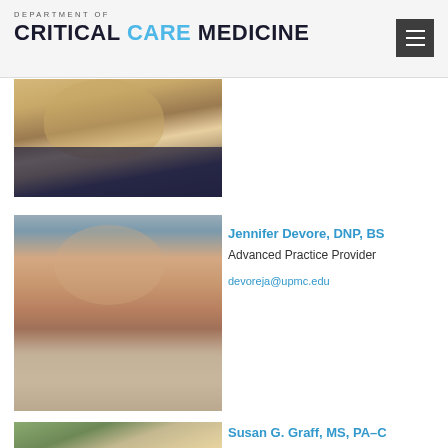Department of CRITICAL CARE MEDICINE
[Figure (photo): Partial photo of a person with blonde hair and dark top, cropped at top of page]
Jennifer Devore, DNP, BS
Advanced Practice Provider
devoreja@upmc.edu
[Figure (photo): Photo of Jennifer Devore, a woman with brown hair and light eyes wearing a knit sweater, against a blurred background]
Susan G. Graff, MS, PA-C
[Figure (photo): Partial photo of Susan G. Graff, outdoors with natural green background]